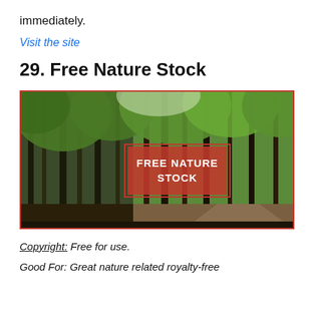immediately.
Visit the site
29. Free Nature Stock
[Figure (photo): A forest photo showing tall trees with green foliage, a dirt path on the right side. A red rectangle watermark in the center reads FREE NATURE STOCK in white bold text.]
Copyright: Free for use.
Good For: Great nature related royalty-free